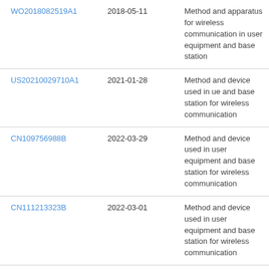| Patent | Date | Title |
| --- | --- | --- |
| WO2018082519A1 | 2018-05-11 | Method and apparatus for wireless communication in user equipment and base station |
| US20210029710A1 | 2021-01-28 | Method and device used in ue and base station for wireless communication |
| CN109756988B | 2022-03-29 | Method and device used in user equipment and base station for wireless communication |
| CN111213323B | 2022-03-01 | Method and device used in user equipment and base station for wireless communication |
| CN109587743B | 2021-05-28 | Method and device used in user equipment and base station for wireless communication |